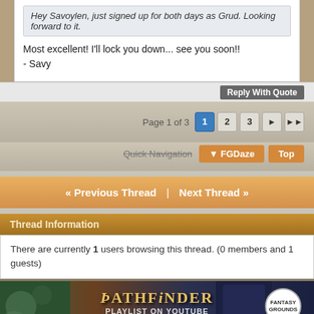Hey Savoylen, just signed up for both days as Grud. Looking forward to it.
Most excellent! I'll lock you down... see you soon!!
- Savy
Reply With Quote
Page 1 of 3  1  2  3  ▶  ▶▶
Quick Navigation  FGDaze  Top
« Previous Thread | Next Thread »
Thread Information
There are currently 1 users browsing this thread. (0 members and 1 guests)
[Figure (screenshot): Pathfinder Playlist on YouTube banner with Fantasy Grounds logo. Text reads: PATHFINDER PLAYLIST ON YOUTUBE, Watch reviews, previews, and tutorials!]